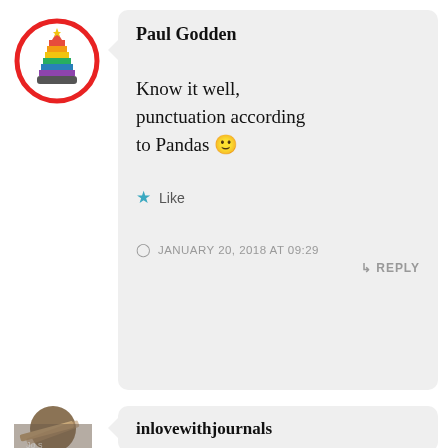[Figure (illustration): Rainbow chess piece avatar icon inside a red circle border]
Paul Godden
Know it well, punctuation according to Pandas 🙂
★ Like
JANUARY 20, 2018 AT 09:29
↳ REPLY
[Figure (photo): Circular avatar photo showing a pen or pencil on paper]
inlovewithjournals